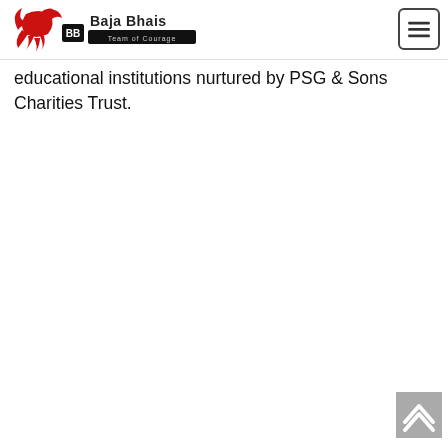[Figure (logo): Baja Bhais team logo with a dragon/phoenix mascot in red and a buggy vehicle graphic, text reads 'Baja Bhais Team of Courage']
educational institutions nurtured by PSG & Sons Charities Trust.
[Figure (other): Back-to-top button with upward chevron arrow on grey background]